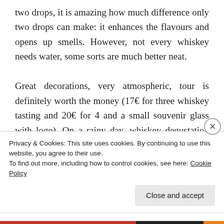two drops, it is amazing how much difference only two drops can make: it enhances the flavours and opens up smells. However, not every whiskey needs water, some sorts are much better neat.

Great decorations, very atmospheric, tour is definitely worth the money (17€ for three whiskey tasting and 20€ for 4 and a small souvenir glass with logo). On a rainy day, whiskey degustation was all we need to happily
Privacy & Cookies: This site uses cookies. By continuing to use this website, you agree to their use.
To find out more, including how to control cookies, see here: Cookie Policy
Close and accept